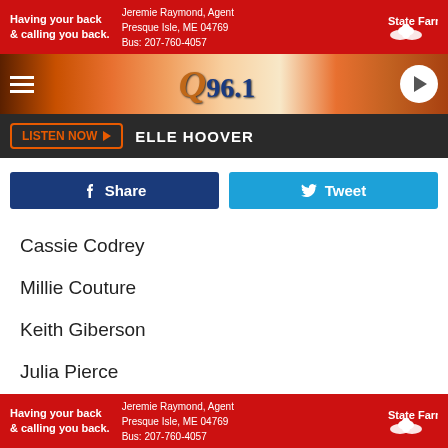[Figure (infographic): State Farm advertisement banner: 'Having your back & calling you back.' Jeremie Raymond, Agent, Presque Isle, ME 04769, Bus: 207-760-4057. State Farm logo.]
[Figure (logo): Q96.1 radio station logo with navigation bar, hamburger menu, and play button]
LISTEN NOW  ELLE HOOVER
[Figure (infographic): Facebook Share button and Twitter Tweet button]
Cassie Codrey
Millie Couture
Keith Giberson
Julia Pierce
Steven Price
[Figure (infographic): State Farm advertisement banner bottom: 'Having your back & calling you back.' Jeremie Raymond, Agent, Presque Isle, ME 04769, Bus: 207-760-4057. State Farm logo.]